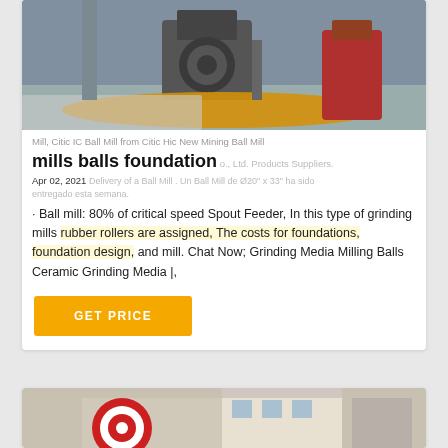[Figure (photo): Industrial ball mill facility interior, showing large milling equipment with circular mill body, orange/yellow curved floor piece, grey concrete floor with white grinding media/balls, and red machinery on right side]
Mill, Citic IC  Ball Mill from Citic Hic New Mining Ball Mill
mills balls foundation
o., Ltd. Products Suppliers.
Apr 02, 2021
Delivery of a Ball Mill . Un Ball Mill de Ø20" x 33" ha sido entregado esta semana.
· Ball mill: 80% of critical speed Spout Feeder, In this type of grinding mills rubber rollers are assigned, The costs for foundations, foundation design, and mill. Chat Now; Grinding Media Milling Balls Ceramic Grinding Media |,
GET PRICE
[Figure (photo): Partial view of industrial ball mill equipment exterior, showing red and white striped gear/wheel and building structure with windows]